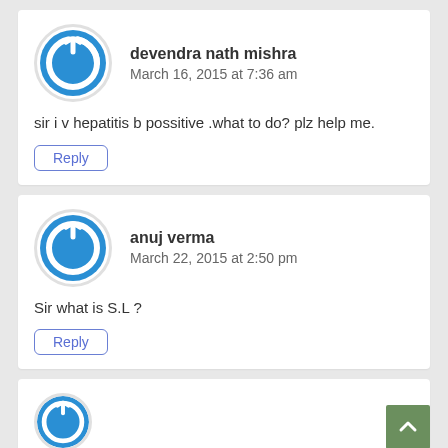[Figure (illustration): Blue circular power/user avatar icon for devendra nath mishra]
devendra nath mishra
March 16, 2015 at 7:36 am
sir i v hepatitis b possitive .what to do? plz help me.
Reply
[Figure (illustration): Blue circular power/user avatar icon for anuj verma]
anuj verma
March 22, 2015 at 2:50 pm
Sir what is S.L ?
Reply